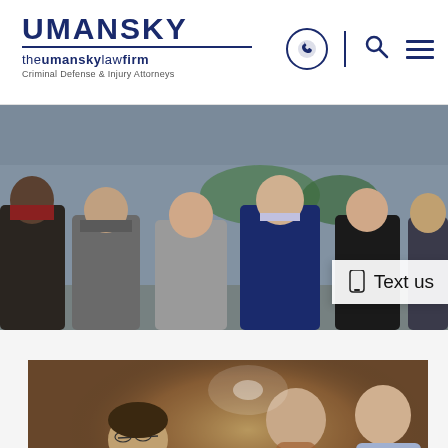UMANSKY / theumanskylawfirm / Criminal Defense & Injury Attorneys
[Figure (photo): Group photo of law firm attorneys in professional attire standing outdoors in front of a building]
Text us
[Figure (photo): Two men in a physical altercation/fight scene indoors, relevant to criminal defense context]